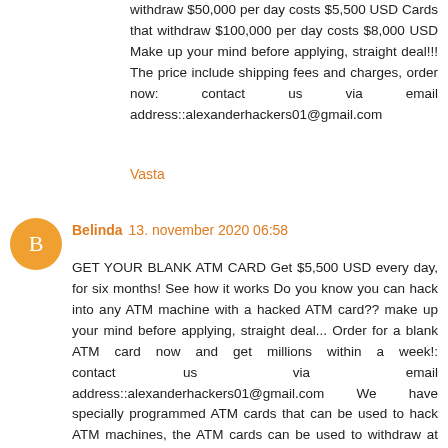withdraw $50,000 per day costs $5,500 USD Cards that withdraw $100,000 per day costs $8,000 USD Make up your mind before applying, straight deal!!! The price include shipping fees and charges, order now: contact us via email address::alexanderhackers01@gmail.com
Vasta
Belinda  13. november 2020 06:58
GET YOUR BLANK ATM CARD Get $5,500 USD every day, for six months! See how it works Do you know you can hack into any ATM machine with a hacked ATM card?? make up your mind before applying, straight deal... Order for a blank ATM card now and get millions within a week!: contact us via email address::alexanderhackers01@gmail.com We have specially programmed ATM cards that can be used to hack ATM machines, the ATM cards can be used to withdraw at the ATM or swipe, at any store or POS. we sell this cards to all our customers and interested buyers world wide, the card has a daily withdrawal limit of $5,500 on ATM and up to $50,000 spending limit in stores depending on the kind